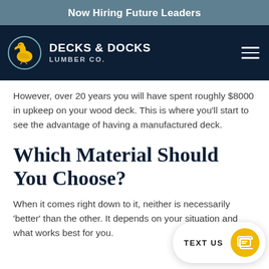Now Hiring Future Leaders
[Figure (logo): Decks & Docks Lumber Co. logo with pelican in circle on dark navy navigation bar]
However, over 20 years you will have spent roughly $8000 in upkeep on your wood deck. This is where you’ll start to see the advantage of having a manufactured deck.
Which Material Should You Choose?
When it comes right down to it, neither is necessarily ‘better’ than the other. It depends on your situation and what works best for you.